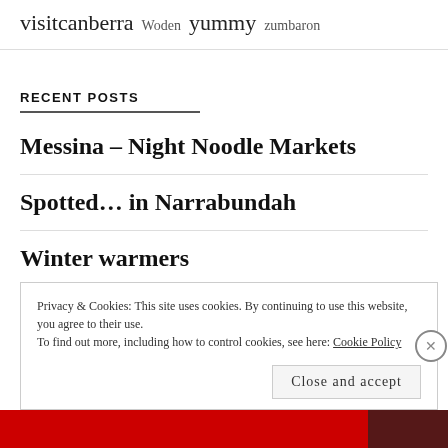visitcanberra Woden yummy zumbaron
RECENT POSTS
Messina – Night Noodle Markets
Spotted… in Narrabundah
Winter warmers
Privacy & Cookies: This site uses cookies. By continuing to use this website, you agree to their use. To find out more, including how to control cookies, see here: Cookie Policy
Close and accept